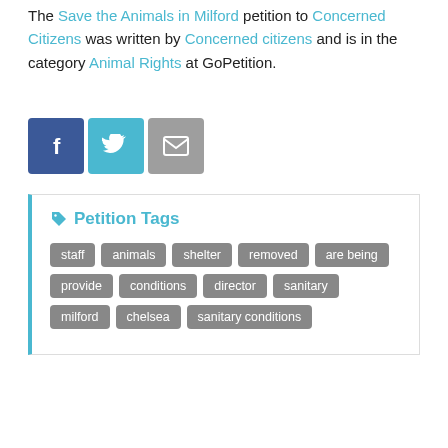The Save the Animals in Milford petition to Concerned Citizens was written by Concerned citizens and is in the category Animal Rights at GoPetition.
[Figure (other): Social share icons: Facebook (blue), Twitter (light blue), Email (grey)]
Petition Tags
Tags: staff, animals, shelter, removed, are being, provide, conditions, director, sanitary, milford, chelsea, sanitary conditions